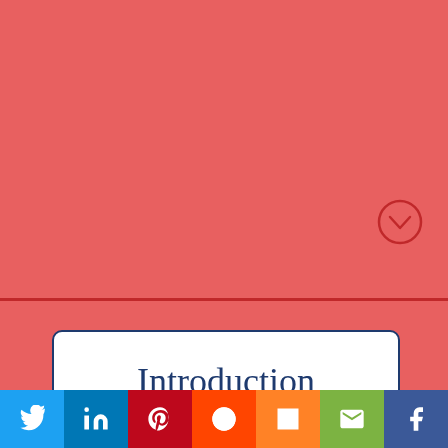[Figure (illustration): Red/salmon background section with a dark red horizontal divider line and a chevron-down circle icon on the right side]
Introduction
ringles teamed up with Disney/Pixar for an 11-brand marketing and promotional
[Figure (logo): Pringles logo: red rounded rectangle with white letter P]
Social share bar: Twitter, LinkedIn, Pinterest, Reddit, Mix, Email, Facebook